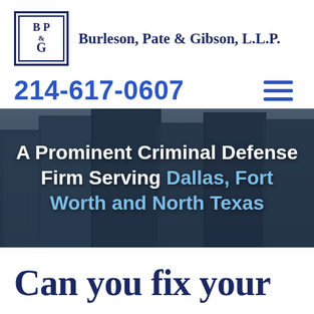[Figure (logo): Burleson Pate & Gibson LLP logo: square dark blue border with letters B, P, G and an ampersand]
Burleson, Pate & Gibson, L.L.P.
214-617-0607
[Figure (other): Hamburger menu icon (three horizontal blue lines)]
[Figure (photo): Background photo of tall city skyscrapers from below, dark blue-grey tones with overlay]
A Prominent Criminal Defense Firm Serving Dallas, Fort Worth and North Texas
Can you fix your